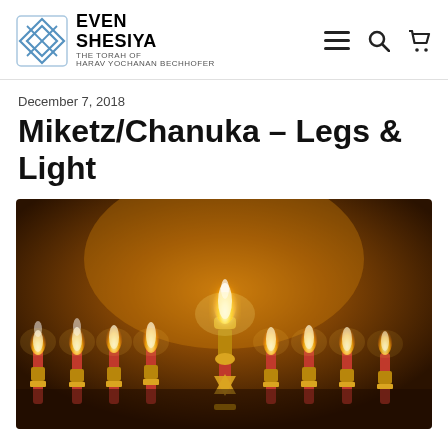EVEN SHESIYA — THE TORAH OF HARAV YOCHANAN BECHHOFER
December 7, 2018
Miketz/Chanuka – Legs & Light
[Figure (photo): A lit Chanukah menorah (hanukkiah) with nine candles burning, golden brass holder with Star of David base, warm amber background lighting, red candles with white/blue flames]